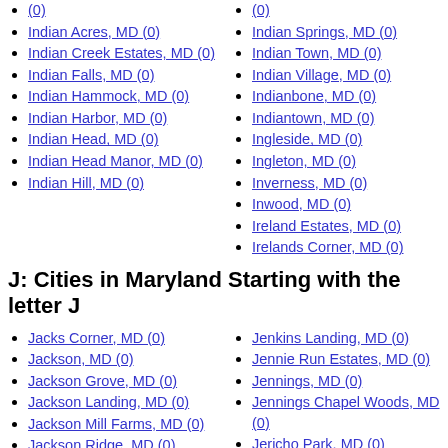(0)
Indian Acres, MD (0)
Indian Creek Estates, MD (0)
Indian Falls, MD (0)
Indian Hammock, MD (0)
Indian Harbor, MD (0)
Indian Head, MD (0)
Indian Head Manor, MD (0)
Indian Hill, MD (0)
(0)
Indian Springs, MD (0)
Indian Town, MD (0)
Indian Village, MD (0)
Indianbone, MD (0)
Indiantown, MD (0)
Ingleside, MD (0)
Ingleton, MD (0)
Inverness, MD (0)
Inwood, MD (0)
Ireland Estates, MD (0)
Irelands Corner, MD (0)
J: Cities in Maryland Starting with the letter J
Jacks Corner, MD (0)
Jackson, MD (0)
Jackson Grove, MD (0)
Jackson Landing, MD (0)
Jackson Mill Farms, MD (0)
Jackson Ridge, MD (0)
Jacksons Corner, MD (0)
Jacksonville, MD (0)
Jacktown, MD (0)
Jacobs Run, MD (0)
Jacobsville, MD (0)
Jenkins Landing, MD (0)
Jennie Run Estates, MD (0)
Jennings, MD (0)
Jennings Chapel Woods, MD (0)
Jericho Park, MD (0)
Jersey, MD (0)
Jersey Heights, MD (0)
Jersey Road Estates, M (0)
Jerusalem, MD (0)